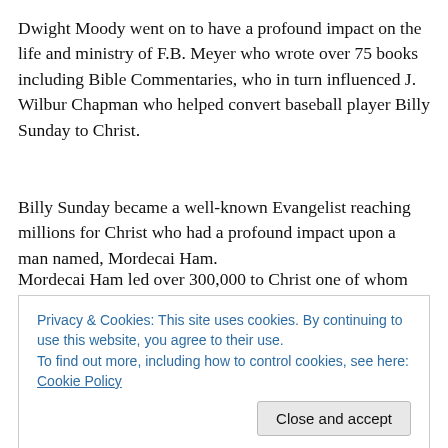Dwight Moody went on to have a profound impact on the life and ministry of F.B. Meyer who wrote over 75 books including Bible Commentaries, who in turn influenced J. Wilbur Chapman who helped convert baseball player Billy Sunday to Christ.
Billy Sunday became a well-known Evangelist reaching millions for Christ who had a profound impact upon a man named, Mordecai Ham.
Mordecai Ham led over 300,000 to Christ one of whom
[Figure (screenshot): Cookie consent banner with text: 'Privacy & Cookies: This site uses cookies. By continuing to use this website, you agree to their use. To find out more, including how to control cookies, see here: Cookie Policy' and a 'Close and accept' button.]
exists a chain of events leading up to his conversion that